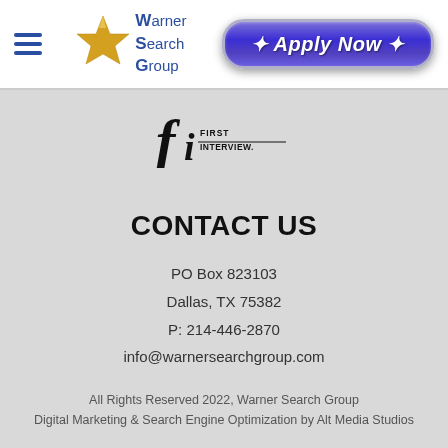[Figure (logo): Hamburger menu icon (three horizontal blue lines)]
[Figure (logo): Warner Search Group logo with gold star and blue text]
[Figure (logo): Apply Now button in purple/blue glossy style with italic white text]
[Figure (logo): First Interview logo with stylized 'fi' letterform and text]
CONTACT US
PO Box 823103
Dallas, TX 75382
P: 214-446-2870
info@warnersearchgroup.com
All Rights Reserved 2022, Warner Search Group
Digital Marketing & Search Engine Optimization by Alt Media Studios